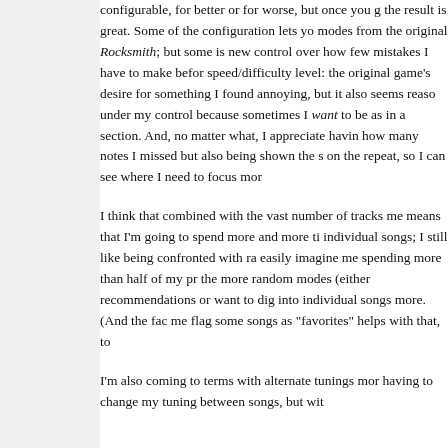configurable, for better or for worse, but once you get the result is great. Some of the configuration lets you modes from the original Rocksmith; but some is new control over how few mistakes I have to make before speed/difficulty level: the original game's desire for something I found annoying, but it also seems reasonable under my control because sometimes I want to be as in a section. And, no matter what, I appreciate having how many notes I missed but also being shown the s on the repeat, so I can see where I need to focus more
I think that combined with the vast number of tracks me means that I'm going to spend more and more time individual songs; I still like being confronted with ra easily imagine me spending more than half of my pr the more random modes (either recommendations or want to dig into individual songs more. (And the fact me flag some songs as "favorites" helps with that, to
I'm also coming to terms with alternate tunings more having to change my tuning between songs, but with